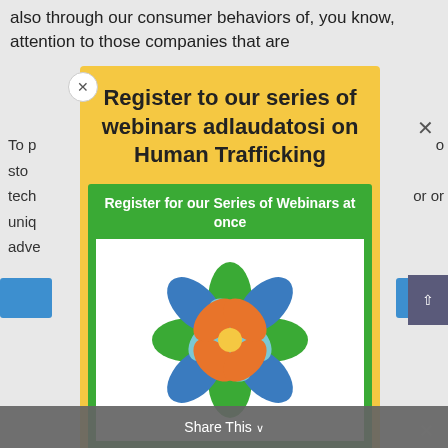also through our consumer behaviors of, you know, attention to those companies that are
To p... sto... tech... uniq... adve...
Register to our series of webinars adlaudatosi on Human Trafficking
Register for our Series of Webinars at once
[Figure (logo): Colorful geometric flower/leaf pattern logo with green, blue, orange and yellow shapes arranged symmetrically]
INTERNATIONAL WEBINARS
Share This